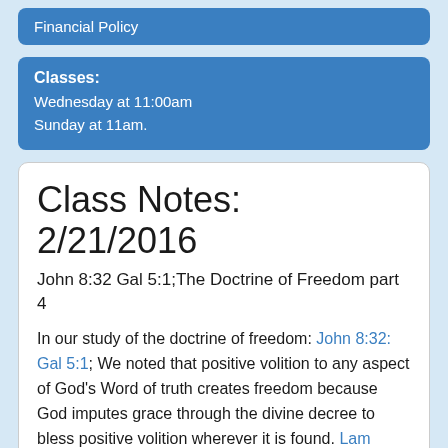Financial Policy
Classes:
Wednesday at 11:00am
Sunday at 11am.
Class Notes: 2/21/2016
John 8:32 Gal 5:1;The Doctrine of Freedom part 4
In our study of the doctrine of freedom: John 8:32: Gal 5:1; We noted that positive volition to any aspect of God's Word of truth creates freedom because God imputes grace through the divine decree to bless positive volition wherever it is found. Lam 3:21-23; James 4:6;
We noted that Positive volition to Divine Establishment